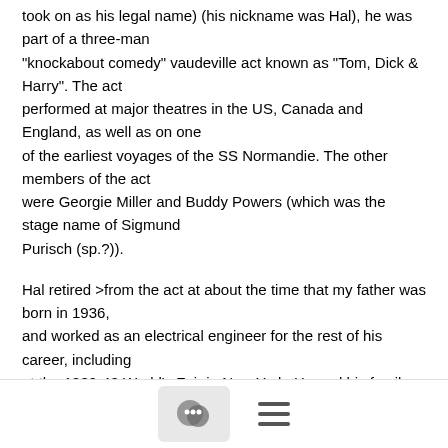took on as his legal name) (his nickname was Hal), he was part of a three-man "knockabout comedy" vaudeville act known as "Tom, Dick & Harry".  The act performed at major theatres in the US, Canada and England, as well as on one of the earliest voyages of the SS Normandie.  The other members of the act were Georgie Miller and Buddy Powers (which was the stage name of Sigmund Purisch (sp.?)).
Hal retired >from the act at about the time that my father was born in 1936, and worked as an electrical engineer for the rest of his career, including at the 1939-40 World's Fair in New York.  He and his family moved to Connecticut in 1953.  He died in 1999.
[Figure (other): Footer bar with a chat bubble icon in a grey box and a hamburger menu icon]